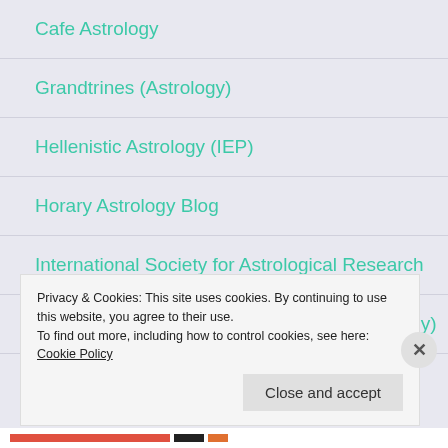Cafe Astrology
Grandtrines (Astrology)
Hellenistic Astrology (IEP)
Horary Astrology Blog
International Society for Astrological Research
John Frawley (Traditional and Horary Astrology)
Privacy & Cookies: This site uses cookies. By continuing to use this website, you agree to their use.
To find out more, including how to control cookies, see here: Cookie Policy
Close and accept